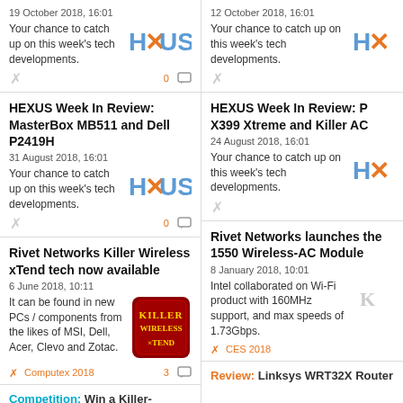19 October 2018, 16:01
Your chance to catch up on this week's tech developments.
[Figure (logo): HEXUS logo in blue/orange]
12 October 2018, 16:01
Your chance to catch up on this week's tech developments.
[Figure (logo): HEXUS logo partial]
HEXUS Week In Review: MasterBox MB511 and Dell P2419H
31 August 2018, 16:01
Your chance to catch up on this week's tech developments.
[Figure (logo): HEXUS logo in blue/orange]
HEXUS Week In Review: P X399 Xtreme and Killer AC
24 August 2018, 16:01
Your chance to catch up on this week's tech developments.
[Figure (logo): HEXUS logo partial]
Rivet Networks Killer Wireless xTend tech now available
6 June 2018, 10:11
It can be found in new PCs / components from the likes of MSI, Dell, Acer, Clevo and Zotac.
[Figure (logo): Killer Wireless xTend logo on red background]
Computex 2018
3 comments
Rivet Networks launches the 1550 Wireless-AC Module
8 January 2018, 10:01
Intel collaborated on Wi-Fi product with 160MHz support, and max speeds of 1.73Gbps.
[Figure (logo): Killer logo partial]
CES 2018
Competition: Win a Killer-enabled Linksys WRT32X Gaming Router
Review: Linksys WRT32X Router